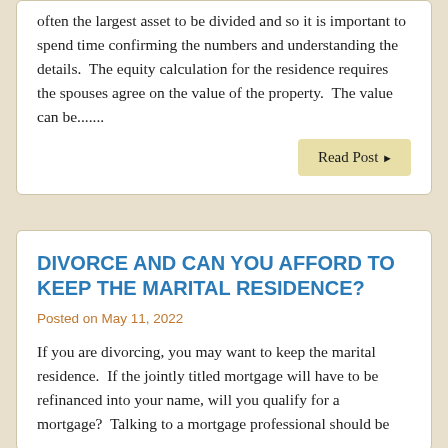often the largest asset to be divided and so it is important to spend time confirming the numbers and understanding the details.  The equity calculation for the residence requires the spouses agree on the value of the property.  The value can be.......
Read Post ▶
DIVORCE AND CAN YOU AFFORD TO KEEP THE MARITAL RESIDENCE?
Posted on May 11, 2022
If you are divorcing, you may want to keep the marital residence.  If the jointly titled mortgage will have to be refinanced into your name, will you qualify for a mortgage?  Talking to a mortgage professional should be